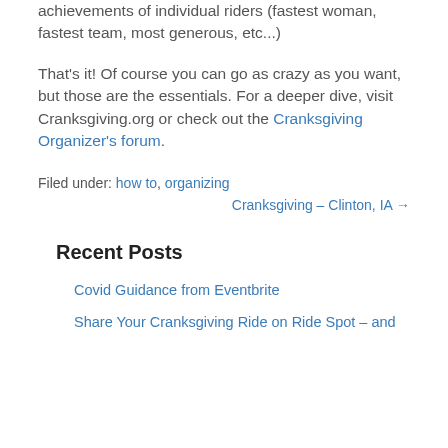achievements of individual riders (fastest woman, fastest team, most generous, etc...)
That's it! Of course you can go as crazy as you want, but those are the essentials. For a deeper dive, visit Cranksgiving.org or check out the Cranksgiving Organizer's forum.
Filed under: how to, organizing
Cranksgiving – Clinton, IA →
Recent Posts
Covid Guidance from Eventbrite
Share Your Cranksgiving Ride on Ride Spot – and